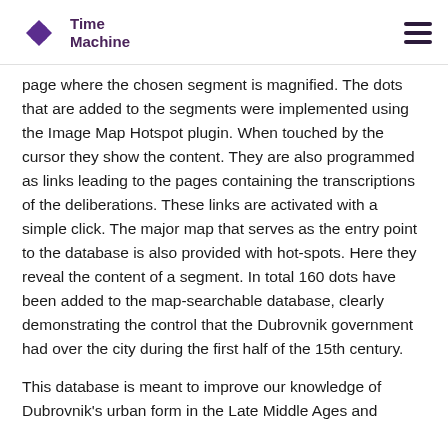Time Machine
page where the chosen segment is magnified. The dots that are added to the segments were implemented using the Image Map Hotspot plugin. When touched by the cursor they show the content. They are also programmed as links leading to the pages containing the transcriptions of the deliberations. These links are activated with a simple click. The major map that serves as the entry point to the database is also provided with hot-spots. Here they reveal the content of a segment. In total 160 dots have been added to the map-searchable database, clearly demonstrating the control that the Dubrovnik government had over the city during the first half of the 15th century.
This database is meant to improve our knowledge of Dubrovnik's urban form in the Late Middle Ages and